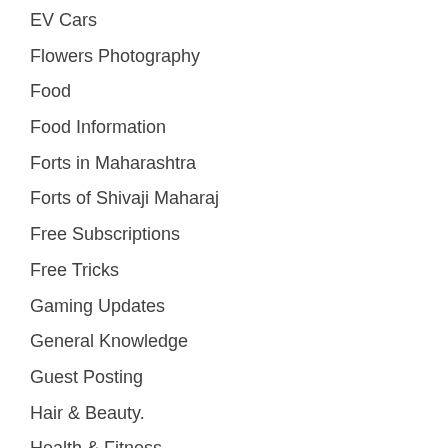EV Cars
Flowers Photography
Food
Food Information
Forts in Maharashtra
Forts of Shivaji Maharaj
Free Subscriptions
Free Tricks
Gaming Updates
General Knowledge
Guest Posting
Hair & Beauty.
Health & Fitness